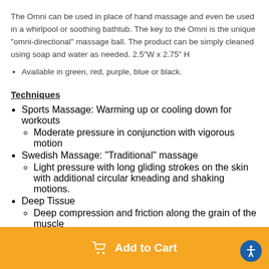The Omni can be used in place of hand massage and even be used in a whirlpool or soothing bathtub. The key to the Omni is the unique "omni-directional" massage ball. The product can be simply cleaned using soap and water as needed. 2.5"W x 2.75" H
Available in green, red, purple, blue or black.
Techniques
Sports Massage: Warming up or cooling down for workouts
Moderate pressure in conjunction with vigorous motion
Swedish Massage: "Traditional" massage
Light pressure with long gliding strokes on the skin with additional circular kneading and shaking motions.
Deep Tissue
Deep compression and friction along the grain of the muscle
Add to Cart